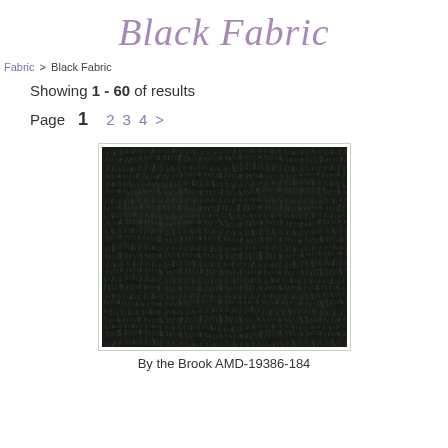Black Fabric
Fabric > Black Fabric
Showing 1 - 60 of results
Page  1  2  3  4  >
[Figure (photo): Close-up photo of black fabric with a textured mosaic/woven pattern in dark tones with subtle green and purple hues.]
By the Brook AMD-19386-184